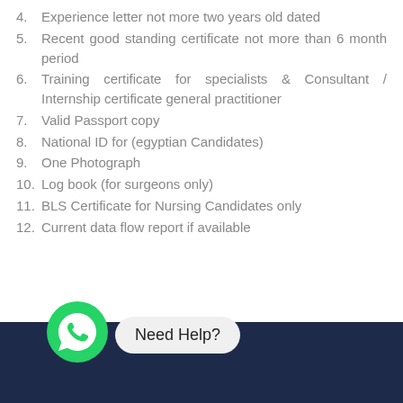4. Experience letter not more two years old dated
5. Recent good standing certificate not more than 6 month period
6. Training certificate for specialists & Consultant / Internship certificate general practitioner
7. Valid Passport copy
8. National ID for (egyptian Candidates)
9. One Photograph
10. Log book (for surgeons only)
11. BLS Certificate for Nursing Candidates only
12. Current data flow report if available
[Figure (illustration): WhatsApp green circle icon with phone handset symbol, and a pill-shaped bubble reading 'Need Help?' on a dark navy footer bar]